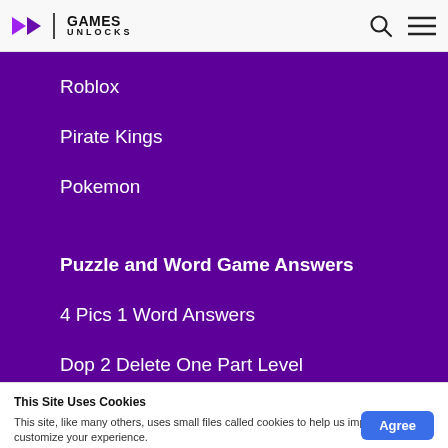GAMES UNLOCKS
Roblox
Pirate Kings
Pokemon
Puzzle and Word Game Answers
4 Pics 1 Word Answers
Dop 2 Delete One Part Level
This Site Uses Cookies
This site, like many others, uses small files called cookies to help us improve and customize your experience.